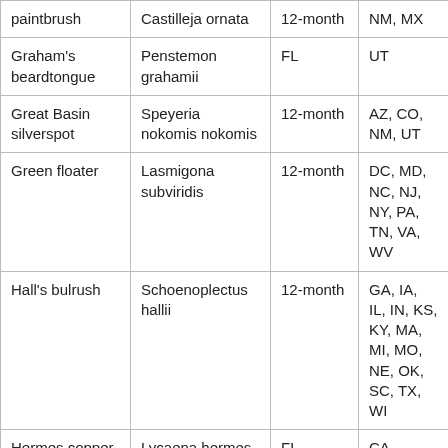| paintbrush | Castilleja ornata | 12-month | NM, MX |
| Graham's beardtongue | Penstemon grahamii | FL | UT |
| Great Basin silverspot | Speyeria nokomis nokomis | 12-month | AZ, CO, NM, UT |
| Green floater | Lasmigona subviridis | 12-month | DC, MD, NC, NJ, NY, PA, TN, VA, WV |
| Hall's bulrush | Schoenoplectus hallii | 12-month | GA, IA, IL, IN, KS, KY, MA, MI, MO, NE, OK, SC, TX, WI |
| Hermes copper butterfly | Lycaena hermes | FL | CA |